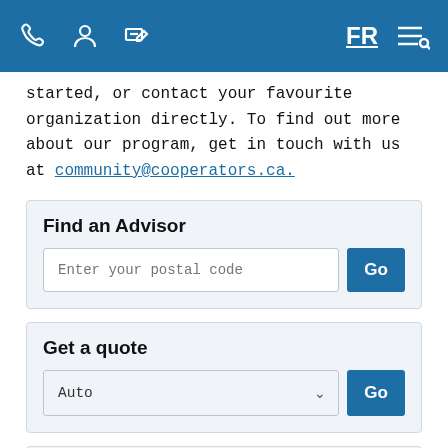FR [navigation icons: phone, person, money/edit, FR language toggle, search/menu]
started, or contact your favourite organization directly. To find out more about our program, get in touch with us at community@cooperators.ca.
Find an Advisor
Enter your postal code [Go button]
Get a quote
Auto [dropdown] [Go button]
Make a claim
Online Services [dropdown] [Go button]